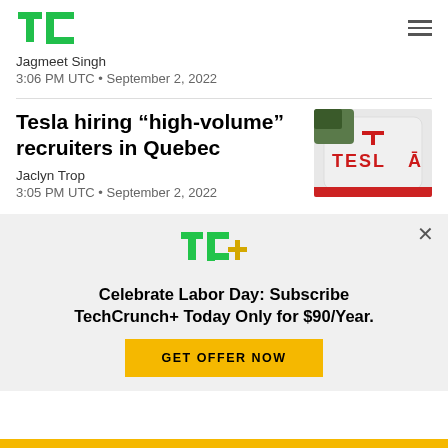TechCrunch logo + menu
Jagmeet Singh
3:06 PM UTC • September 2, 2022
Tesla hiring “high-volume” recruiters in Quebec
Jaclyn Trop
3:05 PM UTC • September 2, 2022
[Figure (photo): Close-up photo of a white Tesla charging station with TESLA branding in red letters]
Celebrate Labor Day: Subscribe TechCrunch+ Today Only for $90/Year.
GET OFFER NOW